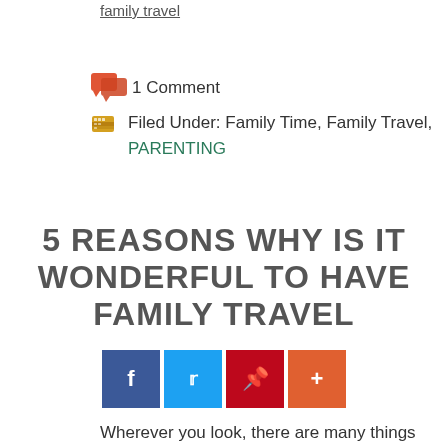family travel
1 Comment
Filed Under: Family Time, Family Travel, PARENTING
5 REASONS WHY IS IT WONDERFUL TO HAVE FAMILY TRAVEL
[Figure (infographic): Social share buttons: Facebook (blue), Twitter (light blue), Pinterest (red), Plus/share (orange-red)]
Wherever you look, there are many things wonderful happening around. Perhaps this is because of the Holiday season where everyone is